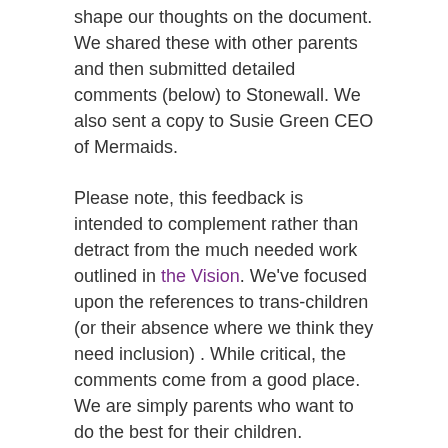shape our thoughts on the document. We shared these with other parents and then submitted detailed comments (below) to Stonewall. We also sent a copy to Susie Green CEO of Mermaids.
Please note, this feedback is intended to complement rather than detract from the much needed work outlined in the Vision. We've focused upon the references to trans-children (or their absence where we think they need inclusion) . While critical, the comments come from a good place. We are simply parents who want to do the best for their children.
We're now asking  for advocates from the Trans community to